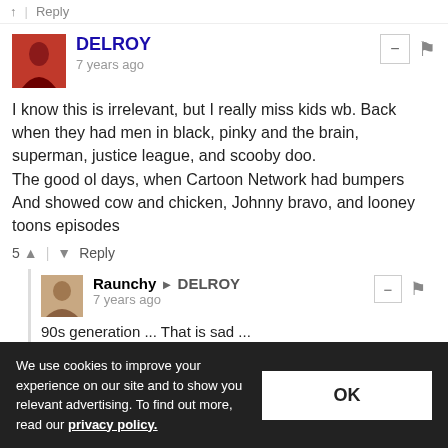↑ | Reply
[Figure (photo): Avatar image for user DELROY - red/dark background with silhouette figure]
DELROY
7 years ago
I know this is irrelevant, but I really miss kids wb. Back when they had men in black, pinky and the brain, superman, justice league, and scooby doo.
The good ol days, when Cartoon Network had bumpers
And showed cow and chicken, Johnny bravo, and looney toons episodes
5 ↑ | ↓ Reply
[Figure (photo): Avatar image for user Raunchy - person photo]
Raunchy → DELROY
7 years ago
90s generation ... That is sad ...
1 ↑ | ↓ Reply
fnaxxsnt
We use cookies to improve your experience on our site and to show you relevant advertising. To find out more, read our privacy policy.